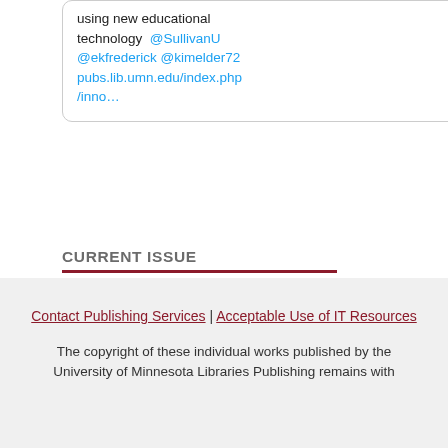using new educational technology @SullivanU @ekfrederick @kimelder72 pubs.lib.umn.edu/index.php/inno…
CURRENT ISSUE
[Figure (other): ATOM 1.0 feed badge button]
[Figure (other): RSS 2.0 feed badge button]
[Figure (other): RSS 1.0 feed badge button]
Contact Publishing Services | Acceptable Use of IT Resources
The copyright of these individual works published by the University of Minnesota Libraries Publishing remains with